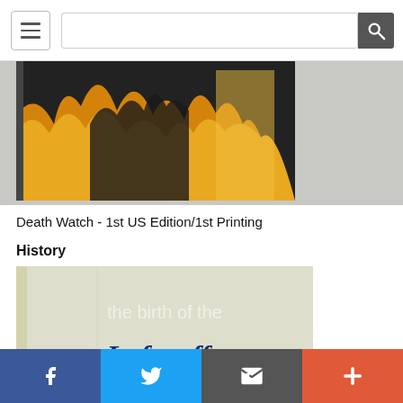Navigation header with menu button and search bar
[Figure (photo): Partial view of a book cover showing flame/fire imagery with dark and orange/gold tones]
Death Watch - 1st US Edition/1st Printing
History
[Figure (photo): Book cover showing 'the birth of the Luftwaffe' title in Gothic/blackletter style font on a worn beige/cream cover]
Social share bar: Facebook, Twitter, Email, More